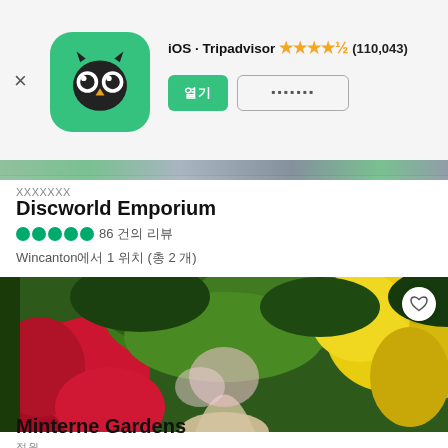iOS · Tripadvisor ★★★★½ (110,043)
xxxxxxx
Discworld Emporium
●●●●● 86 xxx
Wincanton에서 1 xxx (총 2 개)
[Figure (photo): Garden path flanked by bright red rhododendrons on the left and yellow flowering shrubs on the right, with lush green foliage forming a canopy overhead]
정원
Minterne Gardens